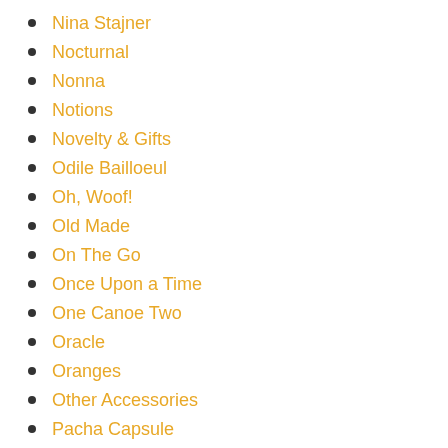Nina Stajner
Nocturnal
Nonna
Notions
Novelty & Gifts
Odile Bailloeul
Oh, Woof!
Old Made
On The Go
Once Upon a Time
One Canoe Two
Oracle
Oranges
Other Accessories
Pacha Capsule